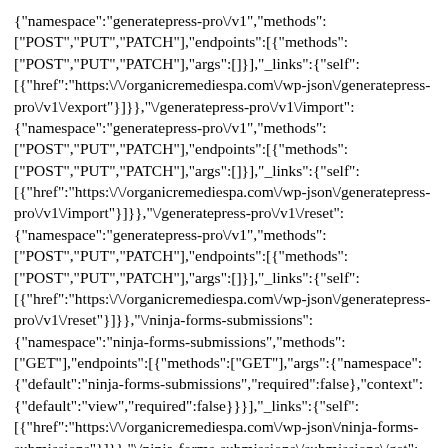{"namespace":"generatepress-pro\/v1","methods":["POST","PUT","PATCH"],"endpoints":[{"methods":["POST","PUT","PATCH"],"args":[]}],"_links":{"self":[{"href":"https:\/\/organicremediespa.com\/wp-json\/generatepress-pro\/v1\/export"}]}},"\/generatepress-pro\/v1\/import":{"namespace":"generatepress-pro\/v1","methods":["POST","PUT","PATCH"],"endpoints":[{"methods":["POST","PUT","PATCH"],"args":[]}],"_links":{"self":[{"href":"https:\/\/organicremediespa.com\/wp-json\/generatepress-pro\/v1\/import"}]}},"\/generatepress-pro\/v1\/reset":{"namespace":"generatepress-pro\/v1","methods":["POST","PUT","PATCH"],"endpoints":[{"methods":["POST","PUT","PATCH"],"args":[]}],"_links":{"self":[{"href":"https:\/\/organicremediespa.com\/wp-json\/generatepress-pro\/v1\/reset"}]}},"\/ninja-forms-submissions":{"namespace":"ninja-forms-submissions","methods":["GET"],"endpoints":[{"methods":["GET"],"args":{"namespace":{"default":"ninja-forms-submissions","required":false},"context":{"default":"view","required":false}}}],"_links":{"self":[{"href":"https:\/\/organicremediespa.com\/wp-json\/ninja-forms-submissions"}]}},"\/ninja-forms-submissions\/submissions\/get":{"namespace":"ninja-forms-submissions","methods":["GET"],"endpoints":[{"methods":["GET"],"args":{"form_ids":{"description":"Form IDs","type":"array","required":true}}}],"_links":{"self":